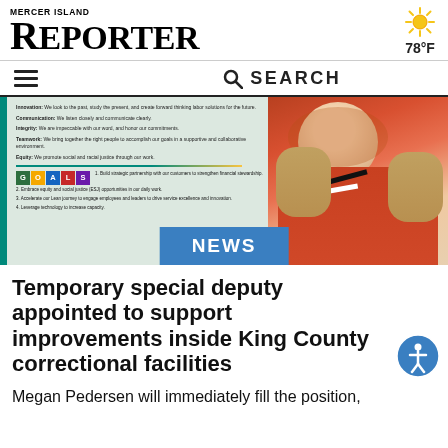MERCER ISLAND REPORTER
[Figure (photo): Photo of a smiling woman with shoulder-length blonde hair, wearing a red top with black and white pattern, standing in front of a King County goals/values poster board with a teal accent bar on the left.]
NEWS
Temporary special deputy appointed to support improvements inside King County correctional facilities
Megan Pedersen will immediately fill the position,